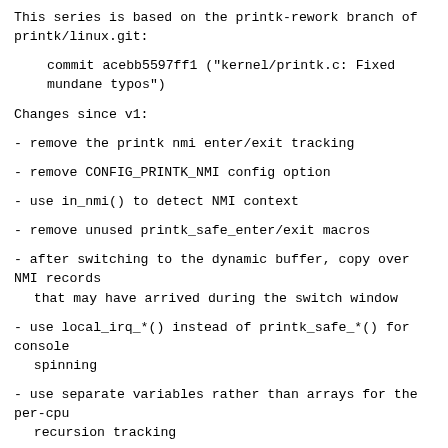This series is based on the printk-rework branch of printk/linux.git:
commit acebb5597ff1 ("kernel/printk.c: Fixed mundane typos")
Changes since v1:
- remove the printk nmi enter/exit tracking
- remove CONFIG_PRINTK_NMI config option
- use in_nmi() to detect NMI context
- remove unused printk_safe_enter/exit macros
- after switching to the dynamic buffer, copy over NMI records
   that may have arrived during the switch window
- use local_irq_*() instead of printk_safe_*() for console
   spinning
- use separate variables rather than arrays for the per-cpu
   recursion tracking
- make @syslog_lock a mutex instead of a spin_lock